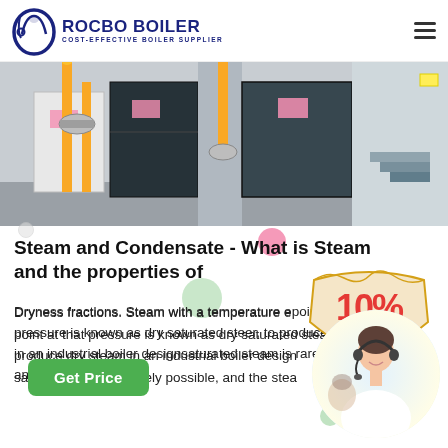ROCBO BOILER — COST-EFFECTIVE BOILER SUPPLIER
[Figure (photo): Industrial boiler room interior showing yellow gas pipes, valves, and dark-colored cabinet enclosures against a white wall.]
Steam and Condensate - What is Steam and the properties of
Dryness fractions. Steam with a temperature equal to the boiling point at that pressure is known as dry saturated steam. However, to produce dry steam in an industrial boiler design, completely dry saturated steam is rarely possible, and the steam...
[Figure (infographic): 10% DISCOUNT promotional badge in red and blue text on a tan/beige ribbon-style badge background.]
[Figure (photo): Customer support agent — a woman wearing a headset smiling, shown in a circular cropped photo with a gradient background.]
Get Price